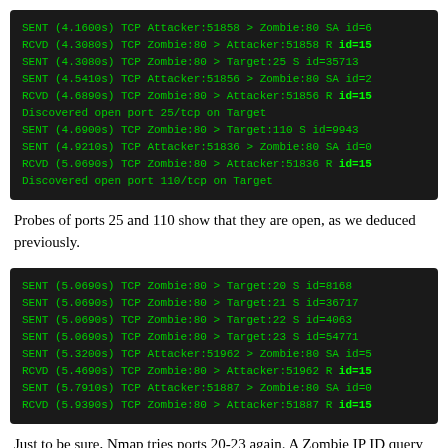[Figure (screenshot): Terminal output showing TCP packet exchanges between Attacker, Zombie, and Target on ports 25 and 110, with discovered open ports.]
Probes of ports 25 and 110 show that they are open, as we deduced previously.
[Figure (screenshot): Terminal output showing TCP packet exchanges between Attacker, Zombie, and Target on ports 20-23, with SENT and RCVD lines.]
Just to be sure, Nmap tries ports 20-23 again. A Zombie IP ID query shows no sequence jump. On the off chance that a SYN/ACK from Target to Zombie came in late, Nmap tries